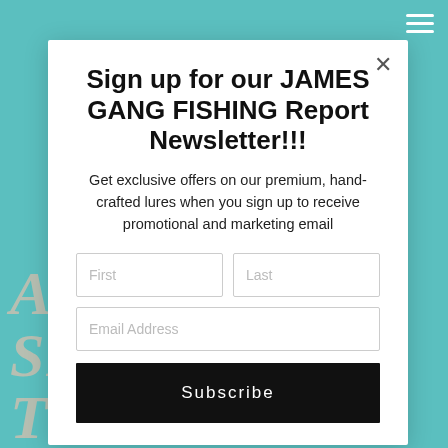[Figure (screenshot): Teal/turquoise background of a website with hamburger menu icon in top-right corner and partial large italic serif text 'A SINCERE THANKS' visible at the bottom behind the modal popup]
Sign up for our JAMES GANG FISHING Report Newsletter!!!
Get exclusive offers on our premium, hand-crafted lures when you sign up to receive promotional and marketing email
First
Last
Email Address
Subscribe